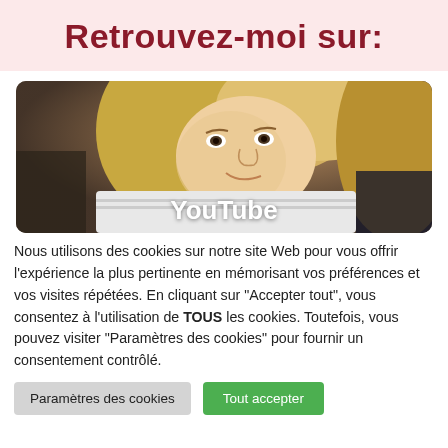Retrouvez-moi sur:
[Figure (photo): YouTube thumbnail showing a blonde woman resting her chin on a stack of books/items, with the text 'YouTube' overlaid in white]
Nous utilisons des cookies sur notre site Web pour vous offrir l'expérience la plus pertinente en mémorisant vos préférences et vos visites répétées. En cliquant sur "Accepter tout", vous consentez à l'utilisation de TOUS les cookies. Toutefois, vous pouvez visiter "Paramètres des cookies" pour fournir un consentement contrôlé.
Paramètres des cookies | Tout accepter